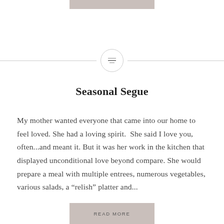[Figure (other): Decorative top bar in muted rose/taupe color at the top center of the page]
[Figure (other): Horizontal divider with a circle containing three horizontal lines (menu icon) in the center]
Seasonal Segue
My mother wanted everyone that came into our home to feel loved. She had a loving spirit. She said I love you, often...and meant it. But it was her work in the kitchen that displayed unconditional love beyond compare. She would prepare a meal with multiple entrees, numerous vegetables, various salads, a “relish” platter and...
[Figure (other): READ MORE button in muted rose/taupe color at the bottom center of the page]